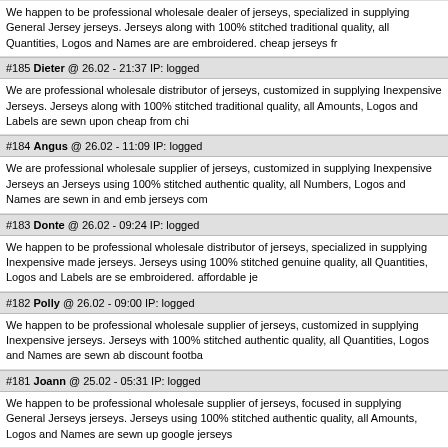We happen to be professional wholesale dealer of jerseys, specialized in supplying General Jersey jerseys. Jerseys along with 100% stitched traditional quality, all Quantities, Logos and Names are are embroidered. cheap jerseys fr
#185 Dieter @ 26.02 - 21:37 IP: logged
We are professional wholesale distributor of jerseys, customized in supplying Inexpensive Jerseys. Jerseys along with 100% stitched traditional quality, all Amounts, Logos and Labels are sewn upon cheap from chi
#184 Angus @ 26.02 - 11:09 IP: logged
We are professional wholesale supplier of jerseys, customized in supplying Inexpensive Jerseys an Jerseys using 100% stitched authentic quality, all Numbers, Logos and Names are sewn in and emb jerseys com
#183 Donte @ 26.02 - 09:24 IP: logged
We happen to be professional wholesale distributor of jerseys, specialized in supplying Inexpensive made jerseys. Jerseys using 100% stitched genuine quality, all Quantities, Logos and Labels are se embroidered. affordable je
#182 Polly @ 26.02 - 09:00 IP: logged
We happen to be professional wholesale supplier of jerseys, customized in supplying Inexpensive jerseys. Jerseys with 100% stitched authentic quality, all Quantities, Logos and Names are sewn ab discount footba
#181 Joann @ 25.02 - 05:31 IP: logged
We happen to be professional wholesale supplier of jerseys, focused in supplying General Jerseys jerseys. Jerseys using 100% stitched authentic quality, all Amounts, Logos and Names are sewn up google jerseys
#180 Donte @ 25.02 - 05:24 IP: logged
We are usually professional wholesale distributor of jerseys, focused in supplying Low cost Jersey jerseys. Jerseys along with 100% stitched genuine quality, all Numbers, Logos and Names are sew discount jerseys
#179 Bessie @ 25.02 - 03:19 IP: logged
We are usually professional wholesale distributor of jerseys, specialised in supplying General Jerse jerseys. Jerseys together with 100% stitched real quality, all Quantities, Logos and Names are se